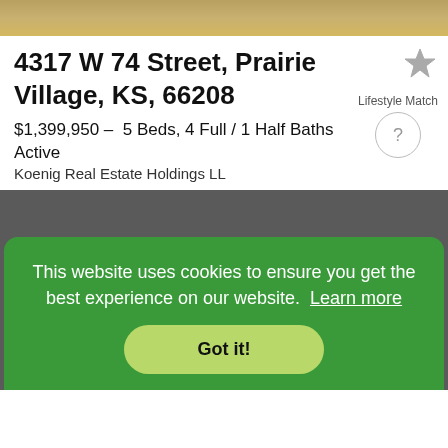[Figure (photo): Aerial or landscape photo of a property, showing earthy tan/brown tones at top of page]
4317 W 74 Street, Prairie Village, KS, 66208
$1,399,950 – 5 Beds, 4 Full / 1 Half Baths
Active
Koenig Real Estate Holdings LL
Lifestyle Match ?
[Figure (photo): Dark gray background area representing a second property photo]
This website uses cookies to ensure you get the best experience on our website. Learn more
Got it!